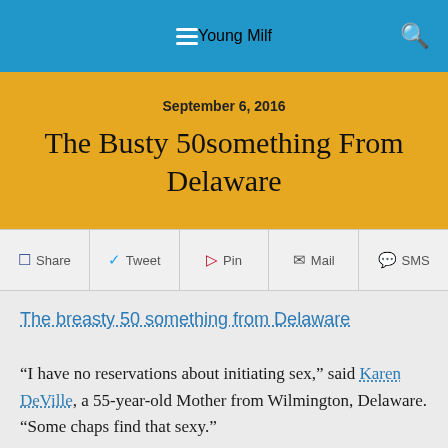Young Milf
September 6, 2016
The Busty 50something From Delaware
Share  Tweet  Pin  Mail  SMS
The breasty 50 something from Delaware
“I have no reservations about initiating sex,” said Karen DeVille, a 55-year-old Mother from Wilmington, Delaware. “Some chaps find that sexy.”